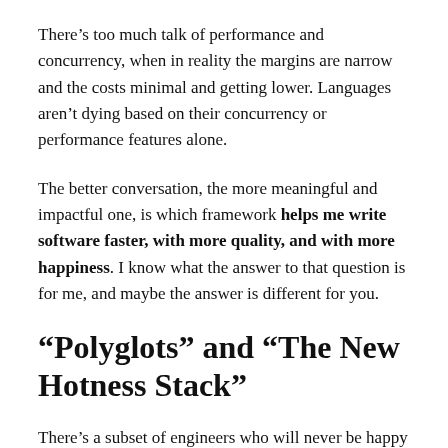There’s too much talk of performance and concurrency, when in reality the margins are narrow and the costs minimal and getting lower. Languages aren’t dying based on their concurrency or performance features alone.
The better conversation, the more meaningful and impactful one, is which framework helps me write software faster, with more quality, and with more happiness. I know what the answer to that question is for me, and maybe the answer is different for you.
“Polyglots” and “The New Hotness Stack”
There’s a subset of engineers who will never be happy